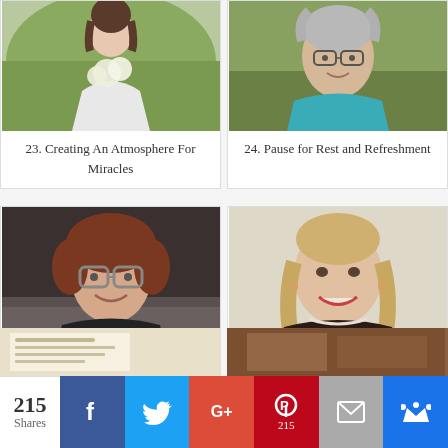[Figure (photo): Woman in white dress holding white flowers outdoors]
23. Creating An Atmosphere For Miracles
[Figure (photo): Older woman with glasses and gray hair smiling outdoors]
24. Pause for Rest and Refreshment
[Figure (photo): Woman with curly hair and large glasses smiling]
25. Memories-Light the Corners of Our Homes
[Figure (photo): Blonde woman with earrings smiling]
26. A Friend Only God Can Give - Walking Well With God
[Figure (photo): Partial image of a card or document at bottom left]
[Figure (photo): Partial image at bottom right]
215 Shares
f (Facebook share button)
Twitter share button
G+ (Google Plus share button)
Pinterest share button - 215
Email share button
Crown/bookmark share button